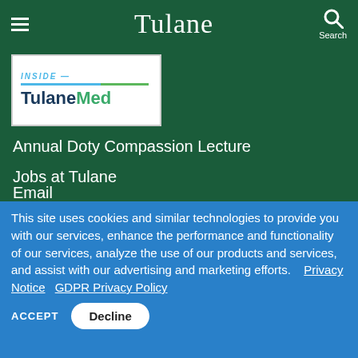Tulane
[Figure (logo): Inside TulaneMed logo with blue and green accent lines]
Annual Doty Compassion Lecture
Jobs at Tulane
Email
This site uses cookies and similar technologies to provide you with our services, enhance the performance and functionality of our services, analyze the use of our products and services, and assist with our advertising and marketing efforts.  Privacy Notice   GDPR Privacy Policy
ACCEPT   Decline